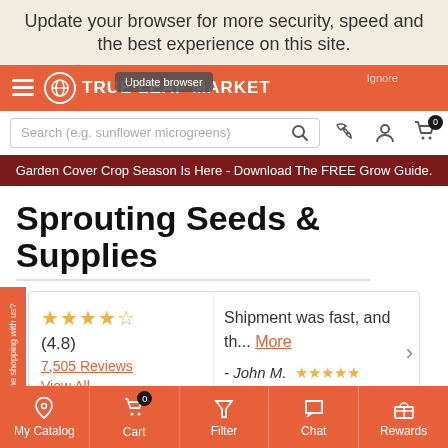Update your browser for more security, speed and the best experience on this site.
[Figure (screenshot): True Leaf Market website header with orange navigation bar, hamburger menu, logo, Update browser popup overlay, and Ignore button]
Search (e.g. sunflower microgreens)
Garden Cover Crop Season Is Here - Download The FREE Grow Guide.
Sprouting Seeds & Supplies
★★★★½ (4.8) 7,505 Reviews View All
Shipment was fast, and th... More - John M. ★★★★★
My Catalog   Cart 0   Filter   Chat   Rewards